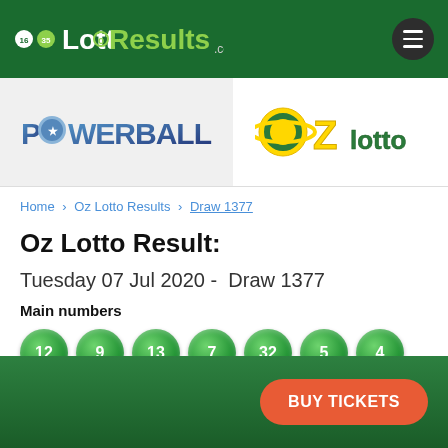LottoResults.com
[Figure (logo): Powerball logo on grey background]
[Figure (logo): OZ Lotto logo on white background]
Home › Oz Lotto Results › Draw 1377
Oz Lotto Result:
Tuesday 07 Jul 2020 -  Draw 1377
Main numbers
12  9  13  7  32  5  4